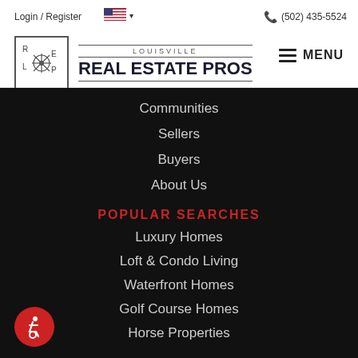Login / Register  🇺🇸 ∨       (502) 435-5524
[Figure (logo): Louisville Real Estate Pros logo: square box with L,R,E,P letters and crossed symbols, beside 'LOUISVILLE REAL ESTATE PROS' text]
Communities
Sellers
Buyers
About Us
POPULAR SEARCHES
Luxury Homes
Loft & Condo Living
Waterfront Homes
Golf Course Homes
Horse Properties